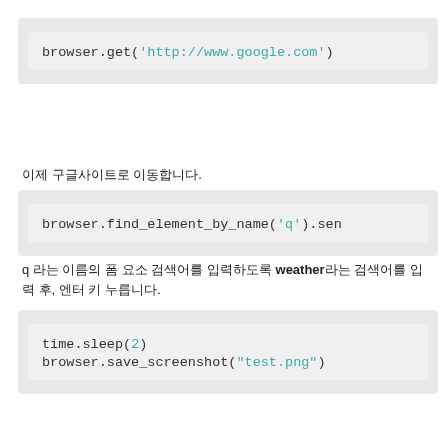[Figure (screenshot): Code block showing: browser.get('http://www.google.com')]
이제 구글사이트로 이동합니다.
[Figure (screenshot): Code block showing: browser.find_element_by_name('q').sen]
q 라는 이름의 폼 요소 검색어를 입력하도록 weather라는 검색어를 입력 후, 엔터 키 누릅니다.
[Figure (screenshot): Code block showing: time.sleep(2)
browser.save_screenshot("test.png")]